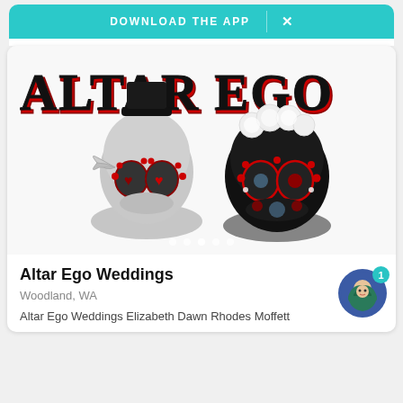DOWNLOAD THE APP  ×
[Figure (photo): Altar Ego Weddings promotional image showing two decorated sugar skull figurines (bride and groom) with ornate patterns in red, black, silver and white. 'ALTAR EGO' text displayed prominently in decorative horror-style font at the top of the image. Carousel navigation dots visible at the bottom of the image.]
Altar Ego Weddings
Woodland, WA
Altar Ego Weddings Elizabeth Dawn Rhodes Moffett